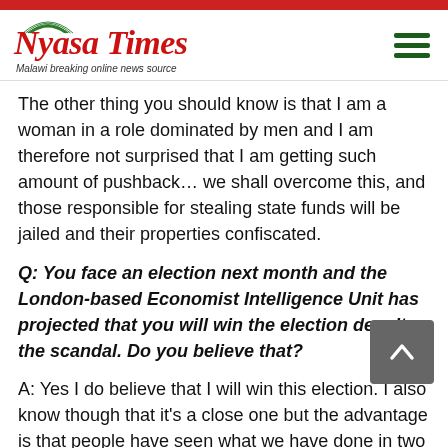[Figure (logo): Nyasa Times logo with green arch, red text, and tagline 'Malawi breaking online news source']
The other thing you should know is that I am a woman in a role dominated by men and I am therefore not surprised that I am getting such amount of pushback… we shall overcome this, and those responsible for stealing state funds will be jailed and their properties confiscated.
Q: You face an election next month and the London-based Economist Intelligence Unit has projected that you will win the election despite the scandal. Do you believe that?
A: Yes I do believe that I will win this election. I also know though that it's a close one but the advantage is that people have seen what we have done in two years.
We have repealed repressive laws, we have changed the status of women, the media is free, and we allowed